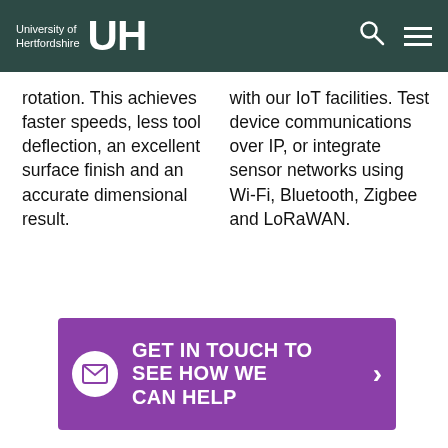University of Hertfordshire UH
rotation. This achieves faster speeds, less tool deflection, an excellent surface finish and an accurate dimensional result.
with our IoT facilities. Test device communications over IP, or integrate sensor networks using Wi-Fi, Bluetooth, Zigbee and LoRaWAN.
[Figure (infographic): Purple CTA banner with envelope icon, text 'GET IN TOUCH TO SEE HOW WE CAN HELP' and right arrow]